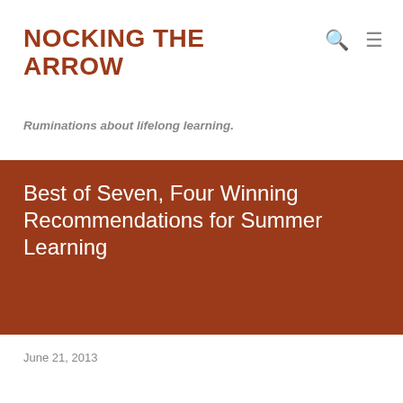NOCKING THE ARROW
Ruminations about lifelong learning.
Best of Seven, Four Winning Recommendations for Summer Learning
June 21, 2013